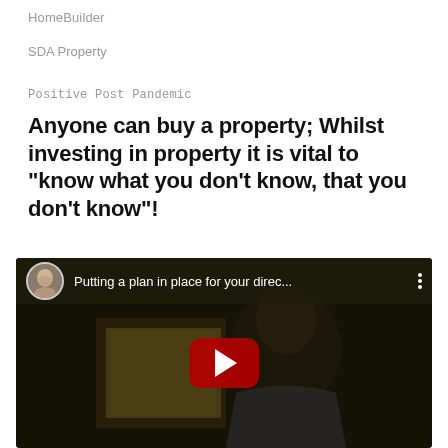HomeBuilder
SDA Property
Positive Post Pandemic
Anyone can buy a property; Whilst investing in property it is vital to “know what you don’t know, that you don’t know”!
[Figure (screenshot): YouTube video embed showing a middle-aged bald man in a dark room. The video top bar shows a circular avatar photo, the title 'Putting a plan in place for your direc...' and a three-dot menu icon. A red YouTube play button is centered over the video thumbnail.]